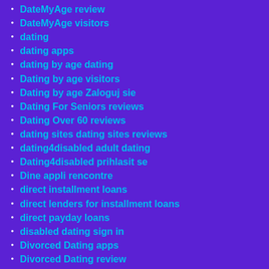DateMyAge review
DateMyAge visitors
dating
dating apps
dating by age dating
Dating by age visitors
Dating by age Zaloguj sie
Dating For Seniors reviews
Dating Over 60 reviews
dating sites dating sites reviews
dating4disabled adult dating
Dating4disabled prihlasit se
Dine appli rencontre
direct installment loans
direct lenders for installment loans
direct payday loans
disabled dating sign in
Divorced Dating apps
Divorced Dating review
Dog Dating username
dominicancupid Anmelden
Down Dating visitors
E-chat Estado en linea